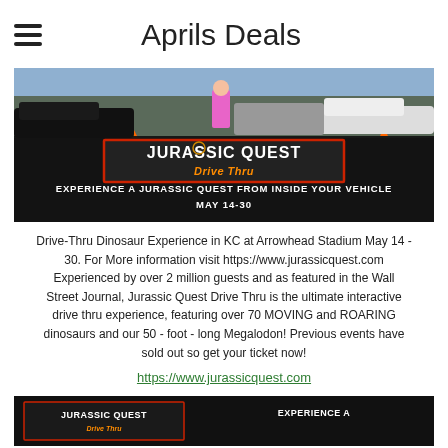Aprils Deals
[Figure (photo): Jurassic Quest Drive Thru promotional banner showing cars in a parking lot with orange cones, the Jurassic Quest Drive Thru logo, and text: EXPERIENCE A JURASSIC QUEST FROM INSIDE YOUR VEHICLE MAY 14-30]
Drive-Thru Dinosaur Experience in KC at Arrowhead Stadium May 14 - 30. For More information visit https://www.jurassicquest.com Experienced by over 2 million guests and as featured in the Wall Street Journal, Jurassic Quest Drive Thru is the ultimate interactive drive thru experience, featuring over 70 MOVING and ROARING dinosaurs and our 50 - foot - long Megalodon! Previous events have sold out so get your ticket now!
https://www.jurassicquest.com
[Figure (photo): Bottom portion of Jurassic Quest Drive Thru banner showing the logo and partial text EXPERIENCE A]